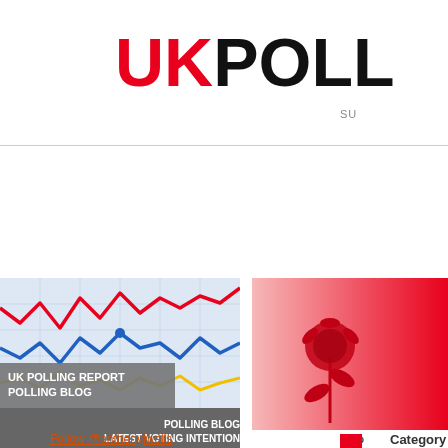UKPOLL
SU...
[Figure (illustration): UK Polling Report Polling Blog thumbnail with red, blue and yellow line chart and grey banner overlay reading 'UK POLLING REPORT POLLING BLOG' with sub-text 'POLLING BLOG LATEST VOTING INTENTION']
[Figure (illustration): Labour Party rose logo on pink/red gradient background]
Follow @anthonyjwells
39%
Category